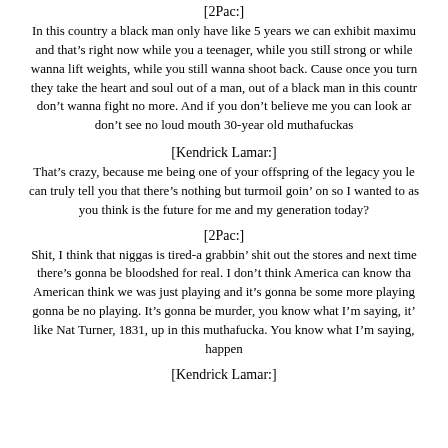[2Pac:]
In this country a black man only have like 5 years we can exhibit maximum and that’s right now while you a teenager, while you still strong or while wanna lift weights, while you still wanna shoot back. Cause once you turn they take the heart and soul out of a man, out of a black man in this countr don’t wanna fight no more. And if you don’t believe me you can look ar don’t see no loud mouth 30-year old muthafuckas
[Kendrick Lamar:]
That’s crazy, because me being one of your offspring of the legacy you le can truly tell you that there’s nothing but turmoil goin’ on so I wanted to as you think is the future for me and my generation today?
[2Pac:]
Shit, I think that niggas is tired-a grabbin’ shit out the stores and next time there’s gonna be bloodshed for real. I don’t think America can know tha American think we was just playing and it’s gonna be some more playing gonna be no playing. It’s gonna be murder, you know what I’m saying, it’ like Nat Turner, 1831, up in this muthafucka. You know what I’m saying, happen
[Kendrick Lamar:]